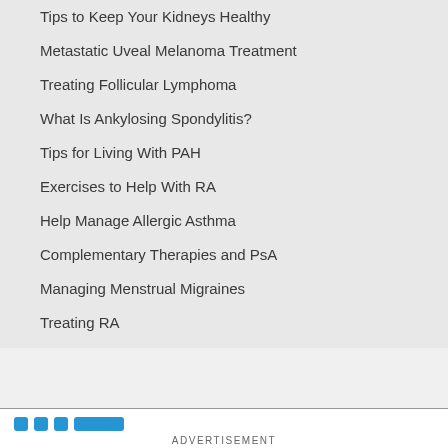Tips to Keep Your Kidneys Healthy
Metastatic Uveal Melanoma Treatment
Treating Follicular Lymphoma
What Is Ankylosing Spondylitis?
Tips for Living With PAH
Exercises to Help With RA
Help Manage Allergic Asthma
Complementary Therapies and PsA
Managing Menstrual Migraines
Treating RA
ADVERTISEMENT
[Figure (screenshot): Advertisement banner for GamerSupps - Caffeine Free, Only at GamerSupps.GG, showing colorful product cans and logo]